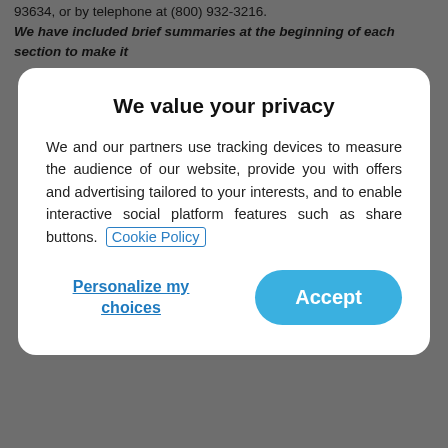93634, or by telephone at (800) 932-3216.
We have included brief summaries at the beginning of each section to make it
[Figure (screenshot): Privacy consent modal overlay with title 'We value your privacy', body text about tracking devices, a Cookie Policy link, a 'Personalize my choices' button, and an 'Accept' button.]
(collectively, the "Service" or our "Services"), you agree to, and are bound by, these Terms of Use (the "Terms" or "Agreement"). This Agreement applies to anyone who accesses or uses our Services, regardless of registration or subscription status.
Your use of our Services is also subject to the Privacy Policy, Cookie Policy, Community Guidelines, and any terms disclosed and agreed to by you when you purchase additional features, products, or services from PeopleMedia ("Additional Terms Upon Purchase"), which are incorporated into this Agreement by reference. If you do not wish to be bound by this Agreement, do not use our Services.